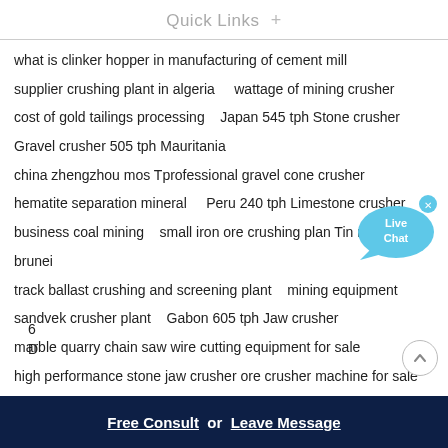Quick Links +
what is clinker hopper in manufacturing of cement mill
supplier crushing plant in algeria    wattage of mining crusher
cost of gold tailings processing    Japan 545 tph Stone crusher
Gravel crusher 505 tph Mauritania
china zhengzhou mos Tprofessional gravel cone crusher
hematite separation mineral    Peru 240 tph Limestone crusher
business coal mining    small iron ore crushing plan Tin mongolia in brunei
track ballast crushing and screening plant    mining equipment
sandvek crusher plant    Gabon 605 tph Jaw crusher
marble quarry chain saw wire cutting equipment for sale
high performance stone jaw crusher ore crusher machine for sale
equipmenta de cribamiento sobre orugas    secondary cone crusher for sale
arena curusher en pune sand making stone quarry
6
D
Free Consult or Leave Message